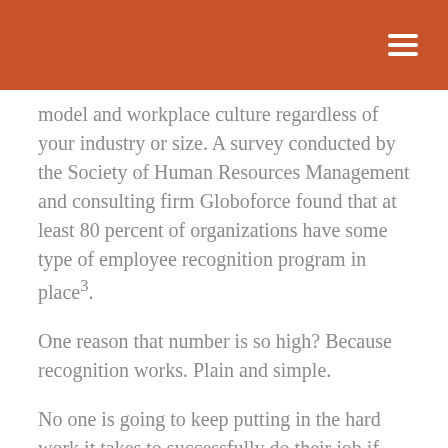model and workplace culture regardless of your industry or size. A survey conducted by the Society of Human Resources Management and consulting firm Globoforce found that at least 80 percent of organizations have some type of employee recognition program in place³.
One reason that number is so high? Because recognition works. Plain and simple.
No one is going to keep putting in the hard work it takes to successfully do their job if their efforts go unnoticed and their work is